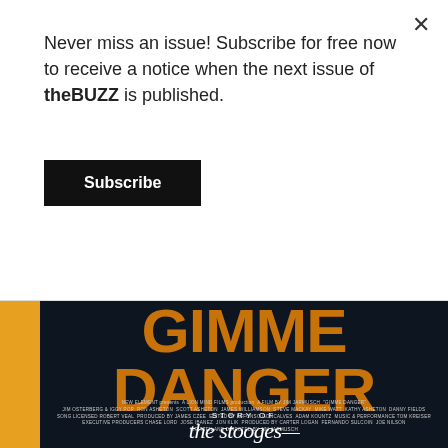Never miss an issue! Subscribe for free now to receive a notice when the next issue of theBUZZ is published.
Subscribe
[Figure (illustration): Movie poster for 'Gimme Danger' - the story of The Stooges. Dark navy background with large orange block letters reading 'GIMME DANGER', credits in small white text, and 'STORY OF the stooges' branding at the bottom. Yellow vertical bar on the left side.]